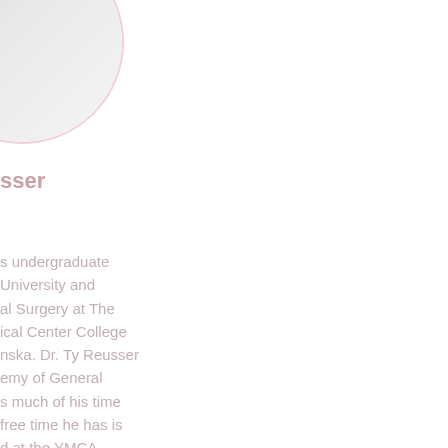[Figure (photo): Circular portrait photo of Dr. Ty Reusser, partially cropped at top-left corner of page]
sser
s undergraduate University and al Surgery at The ical Center College nska. Dr. Ty Reusser emy of General s much of his time free time he has is d at the YMCA.